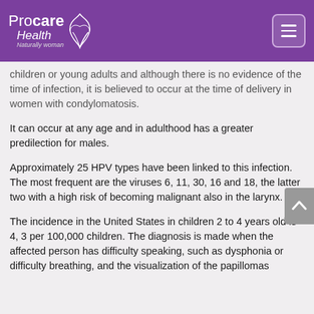Procare Health — Naturally woman
children or young adults and although there is no evidence of the time of infection, it is believed to occur at the time of delivery in women with condylomatosis.
It can occur at any age and in adulthood has a greater predilection for males.
Approximately 25 HPV types have been linked to this infection. The most frequent are the viruses 6, 11, 30, 16 and 18, the latter two with a high risk of becoming malignant also in the larynx.
The incidence in the United States in children 2 to 4 years old is 4, 3 per 100,000 children. The diagnosis is made when the affected person has difficulty speaking, such as dysphonia or difficulty breathing, and the visualization of the papillomas